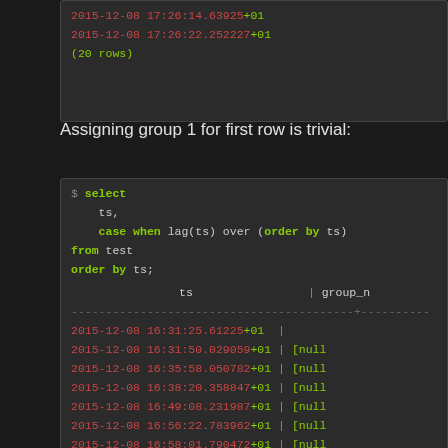[Figure (screenshot): Terminal output showing two timestamp rows and (20 rows) message]
Assigning group 1 for first row is trivial:
[Figure (screenshot): Terminal showing SQL SELECT query with lag() window function and result set with timestamps and group_n column showing [null] values]